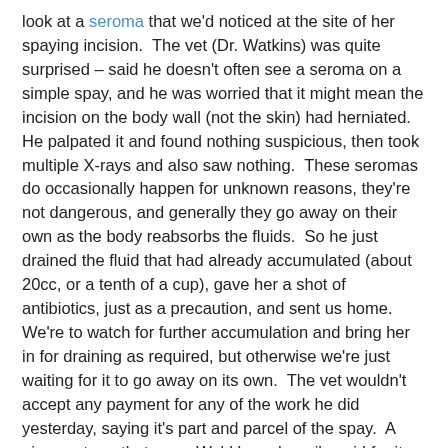look at a seroma that we'd noticed at the site of her spaying incision.  The vet (Dr. Watkins) was quite surprised – said he doesn't often see a seroma on a simple spay, and he was worried that it might mean the incision on the body wall (not the skin) had herniated.  He palpated it and found nothing suspicious, then took multiple X-rays and also saw nothing.  These seromas do occasionally happen for unknown reasons, they're not dangerous, and generally they go away on their own as the body reabsorbs the fluids.  So he just drained the fluid that had already accumulated (about 20cc, or a tenth of a cup), gave her a shot of antibiotics, just as a precaution, and sent us home.  We're to watch for further accumulation and bring her in for draining as required, but otherwise we're just waiting for it to go away on its own.  The vet wouldn't accept any payment for any of the work he did yesterday, saying it's part and parcel of the spay.  A nice gesture, that was.  We'd have happily paid for it, because (so far as we know) it wasn't the vet's fault that Cabo got a seroma.  But to have such great service, delivered as if we were close friends, and then say it's free – well, that can't help but put a smile on our faces...